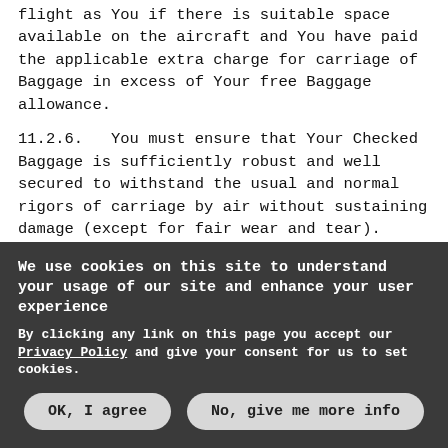flight as You if there is suitable space available on the aircraft and You have paid the applicable extra charge for carriage of Baggage in excess of Your free Baggage allowance.
11.2.6.   You must ensure that Your Checked Baggage is sufficiently robust and well secured to withstand the usual and normal rigors of carriage by air without sustaining damage (except for fair wear and tear).
11.3.     Unchecked Baggage
11.3.1.   We specify a maximum number and/or dimensions and/or weight of Unchecked Baggage, which You carry on to the aircraft.  All Unchecked Baggage must be small enough to fit
We use cookies on this site to understand your usage of our site and enhance your user experience
By clicking any link on this page you accept our Privacy Policy and give your consent for us to set cookies.